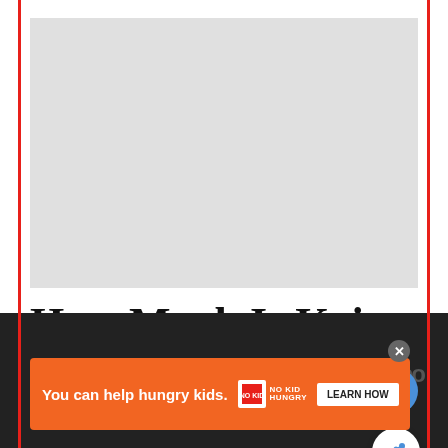[Figure (photo): Gray placeholder image area at top of article]
How Much Is Koi Fish?
Koi fish is a type of freshwater fish that is usually found in ponds and lakes